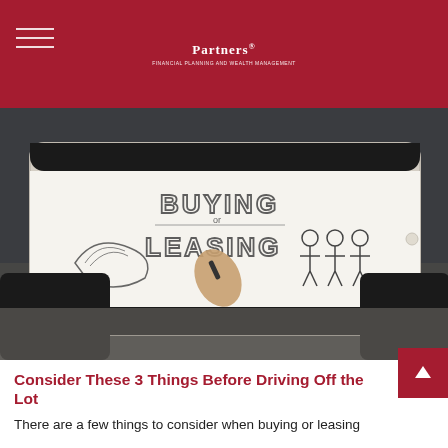Partners — Financial Planning and Wealth Management
[Figure (photo): Person holding a tablet displaying a hand-drawn style illustration/infographic with the text 'BUYING or LEASING' along with simple drawings of money/fan shape and people figures. The scene is photographed from above showing hands gripping the tablet.]
Consider These 3 Things Before Driving Off the Lot
There are a few things to consider when buying or leasing